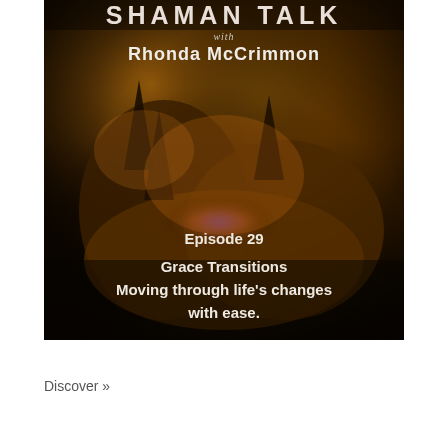[Figure (illustration): Podcast cover art for 'Shaman Talk with Rhonda McCrimmon', Episode 29: Grace Transitions - Moving through life's changes with ease. Dark fiery nature-themed background with organic textures in orange, brown and black tones with a purple swirl accent. White text overlaid showing show title, host name, episode number and subtitle.]
Discover »